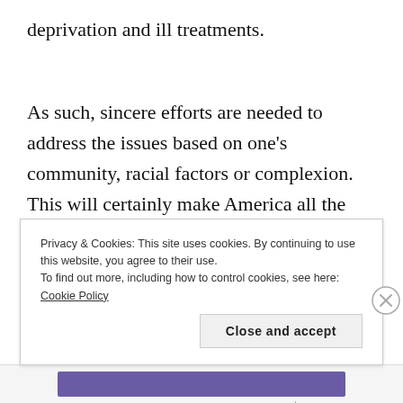deprivation and ill treatments.
As such, sincere efforts are needed to address the issues based on one's community, racial factors or complexion. This will certainly make America all the more progressive and advanced, with the Blacks
Privacy & Cookies: This site uses cookies. By continuing to use this website, you agree to their use.
To find out more, including how to control cookies, see here: Cookie Policy
Close and accept